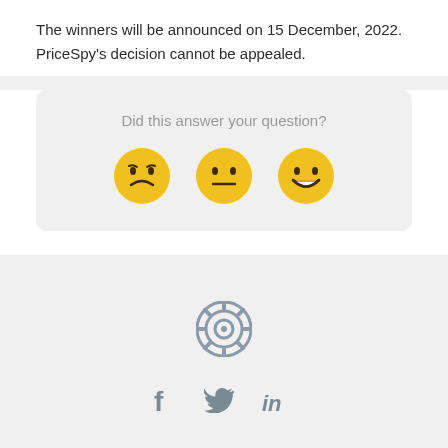The winners will be announced on 15 December, 2022. PriceSpy's decision cannot be appealed.
[Figure (infographic): Feedback widget with question 'Did this answer your question?' and three emoji faces: disappointed, neutral, and happy]
[Figure (other): Camera/settings circular icon in gray]
[Figure (other): Social media icons: Facebook (f), Twitter (bird), LinkedIn (in) in gray]